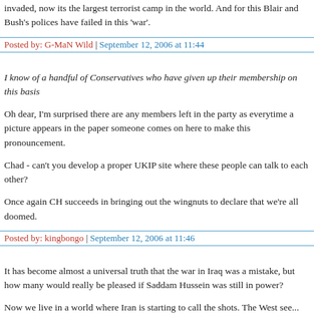invaded, now its the largest terrorist camp in the world. And for this Blair and Bush's polices have failed in this 'war'.
Posted by: G-MaN Wild | September 12, 2006 at 11:44
I know of a handful of Conservatives who have given up their membership on this basis
Oh dear, I'm surprised there are any members left in the party as everytime a picture appears in the paper someone comes on here to make this pronouncement.
Chad - can't you develop a proper UKIP site where these people can talk to each other?
Once again CH succeeds in bringing out the wingnuts to declare that we're all doomed.
Posted by: kingbongo | September 12, 2006 at 11:46
It has become almost a universal truth that the war in Iraq was a mistake, but how many would really be pleased if Saddam Hussein was still in power?
Now we live in a world where Iran is starting to call the shots. The West seems to prefer to sit back and wait in case the results are not too bad. The EU in...